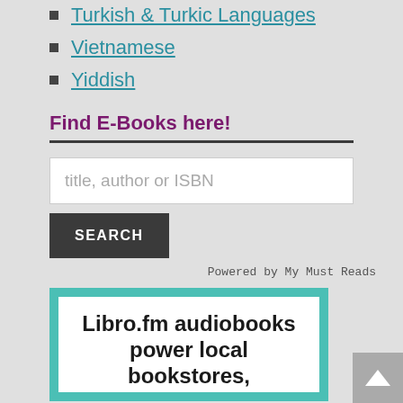Turkish & Turkic Languages
Vietnamese
Yiddish
Find E-Books here!
[Figure (screenshot): Search box with placeholder text 'title, author or ISBN', a SEARCH button, and 'Powered by My Must Reads' attribution]
[Figure (illustration): Libro.fm audiobooks banner with teal border and white interior showing text 'Libro.fm audiobooks power local bookstores,']